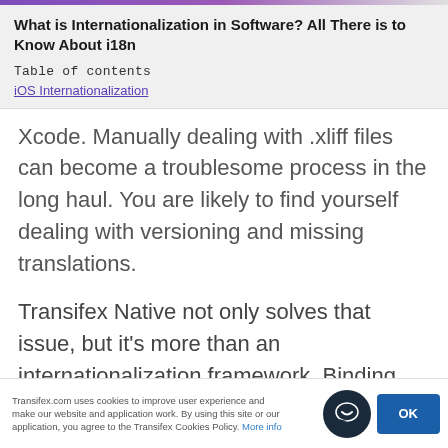What is Internationalization in Software? All There is to Know About i18n
Table of contents
iOS Internationalization
Xcode. Manually dealing with .xliff files can become a troublesome process in the long haul. You are likely to find yourself dealing with versioning and missing translations.
Transifex Native not only solves that issue, but it's more than an internationalization framework. Binding Transifex Native with the Transifex web-app you get a full-fledged Translation Management System with plenty of management features and automated pull/push
Transifex.com uses cookies to improve user experience and make our website and application work. By using this site or our application, you agree to the Transifex Cookies Policy. More info